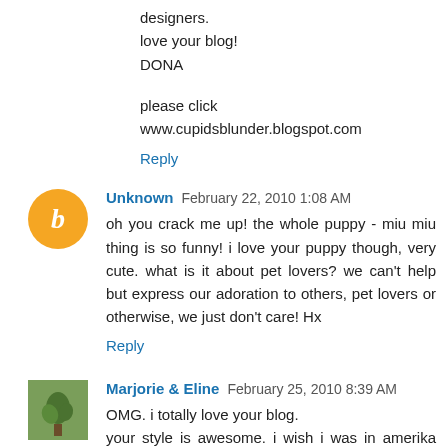designers.
love your blog!
DONA
please click
www.cupidsblunder.blogspot.com
Reply
Unknown  February 22, 2010 1:08 AM
oh you crack me up! the whole puppy - miu miu thing is so funny! i love your puppy though, very cute. what is it about pet lovers? we can't help but express our adoration to others, pet lovers or otherwise, we just don't care! Hx
Reply
Marjorie & Eline  February 25, 2010 8:39 AM
OMG. i totally love your blog.
your style is awesome. i wish i was in amerika now.
even here in the cold netherlands were all talking about